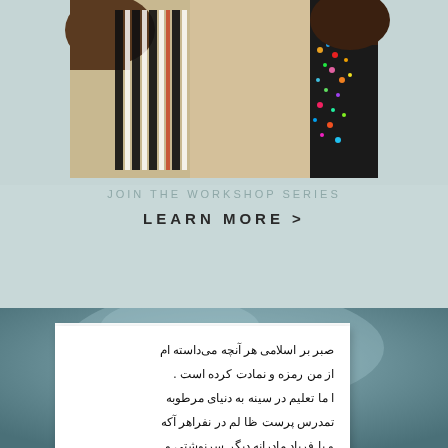[Figure (photo): Close-up photograph of colorful textile/fabric with stripes and beadwork, held by hands]
JOIN THE WORKSHOP SERIES
LEARN MORE >
[Figure (photo): Blurred teal/blue-green background with a white card in the center containing Persian/Farsi handwritten text]